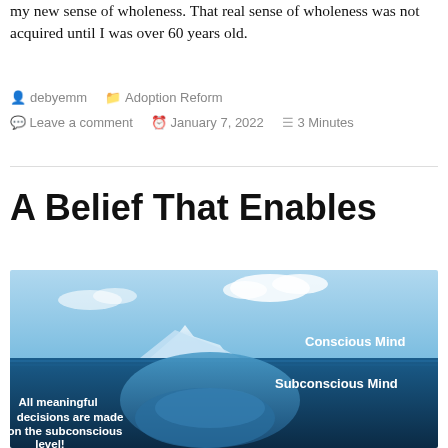my new sense of wholeness. That real sense of wholeness was not acquired until I was over 60 years old.
debyemm   Adoption Reform
Leave a comment   January 7, 2022   3 Minutes
A Belief That Enables
[Figure (illustration): Iceberg diagram showing Conscious Mind above water and Subconscious Mind below, with text: 'All meaningful decisions are made on the subconscious level!']